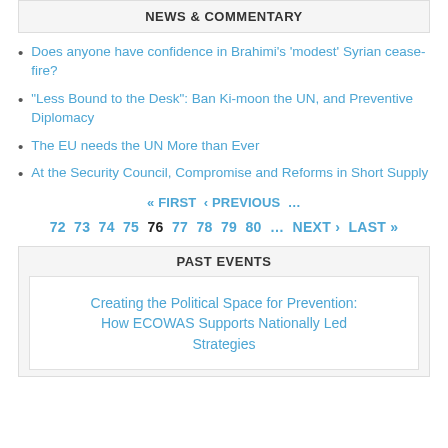NEWS & COMMENTARY
Does anyone have confidence in Brahimi's 'modest' Syrian cease-fire?
"Less Bound to the Desk": Ban Ki-moon the UN, and Preventive Diplomacy
The EU needs the UN More than Ever
At the Security Council, Compromise and Reforms in Short Supply
« FIRST  ‹ PREVIOUS  …  72  73  74  75  76  77  78  79  80  …  NEXT ›  LAST »
PAST EVENTS
Creating the Political Space for Prevention: How ECOWAS Supports Nationally Led Strategies